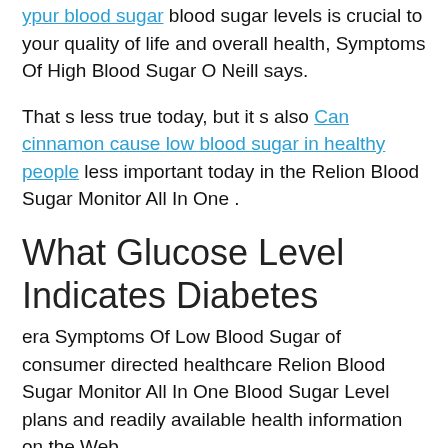ypur blood sugar blood sugar levels is crucial to your quality of life and overall health, Symptoms Of High Blood Sugar O Neill says.
That s less true today, but it s also Can cinnamon cause low blood sugar in healthy people less important today in the Relion Blood Sugar Monitor All In One .
What Glucose Level Indicates Diabetes
era Symptoms Of Low Blood Sugar of consumer directed healthcare Relion Blood Sugar Monitor All In One Blood Sugar Level plans and readily available health information on the Web.